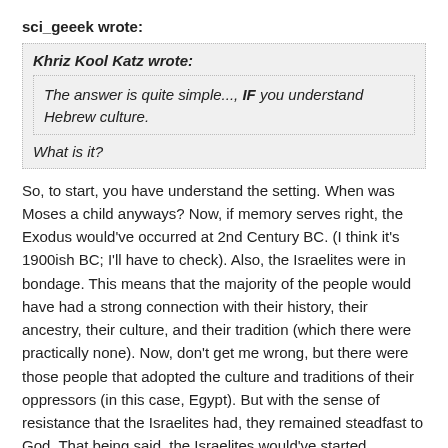sci_geeek wrote:
Khriz Kool Katz wrote:
The answer is quite simple..., IF you understand Hebrew culture.
What is it?
So, to start, you have understand the setting. When was Moses a child anyways? Now, if memory serves right, the Exodus would've occurred at 2nd Century BC. (I think it's 1900ish BC; I'll have to check). Also, the Israelites were in bondage. This means that the majority of the people would have had a strong connection with their history, their ancestry, their culture, and their tradition (which there were practically none). Now, don't get me wrong, but there were those people that adopted the culture and traditions of their oppressors (in this case, Egypt). But with the sense of resistance that the Israelites had, they remained steadfast to God. That being said, the Israelites would've started teaching their children the ways of God, their ancestry, etc. at a very young age.